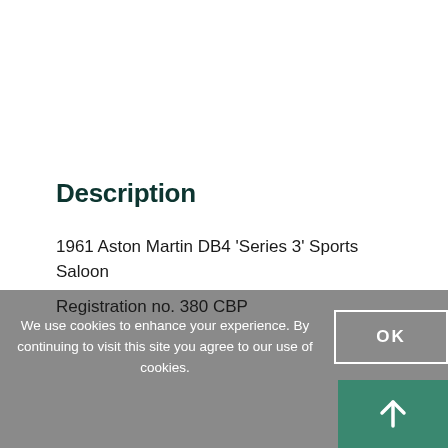Description
1961 Aston Martin DB4 'Series 3' Sports Saloon
Registration no. 380 CBP
We use cookies to enhance your experience. By continuing to visit this site you agree to our use of cookies.